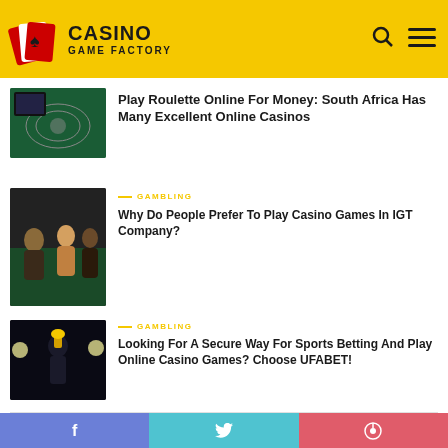Casino Game Factory
[Figure (screenshot): Thumbnail image of a roulette table with a screen showing a casino game]
Play Roulette Online For Money: South Africa Has Many Excellent Online Casinos
[Figure (photo): People playing casino games at a green table]
GAMBLING
Why Do People Prefer To Play Casino Games In IGT Company?
[Figure (photo): Person in suit holding a trophy with stadium lights in background]
GAMBLING
Looking For A Secure Way For Sports Betting And Play Online Casino Games? Choose UFABET!
Search ...
SEARCH